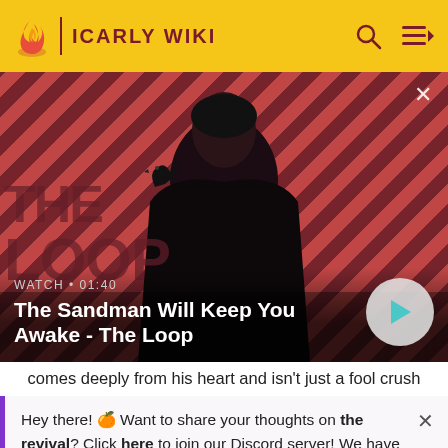ICARLY WIKI
[Figure (screenshot): Video thumbnail for 'The Sandman Will Keep You Awake - The Loop' showing a dark figure with a raven on striped red/dark background. Shows WATCH · 01:40 timer and play button.]
comes deeply from his heart and isn't just a fool crush because he put his life on the line to protect her. Self-
Hey there! 🍊 Want to share your thoughts on the revival? Click here to join our Discord server! We have custom emotes, fun bots, quizzes and more. 🍊